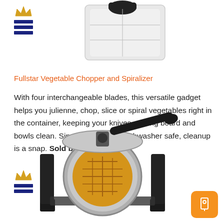[Figure (photo): Fullstar Vegetable Chopper and Spiralizer product image shown partially at top of page]
Fullstar Vegetable Chopper and Spiralizer
With four interchangeable blades, this versatile gadget helps you julienne, chop, slice or spiral vegetables right in the container, keeping your knives, cutting board and bowls clean. Since all parts are dishwasher safe, cleanup is a snap. Sold by Amazon
[Figure (photo): Rotating waffle maker with stainless steel round cooking plates and black handles, shown with a golden waffle inside]
[Figure (logo): Crown icon with three horizontal blue bars (hamburger menu icon)]
[Figure (logo): Crown icon with three horizontal blue bars (hamburger menu icon) at bottom left]